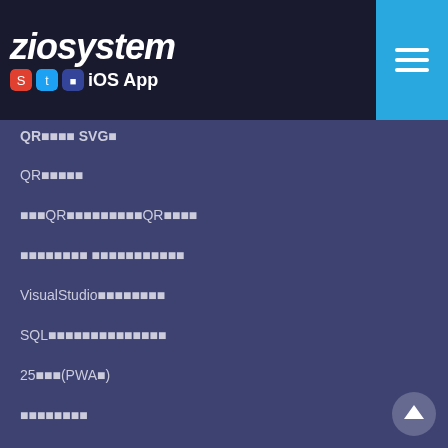ziosystem iOS App
QR■■■■ SVG■
QR■■■■■
■■■QR■■■■■■■■■QR■■■■
■■■■■■■■ ■■■■■■■■■■■
VisualStudio■■■■■■■■
SQL■■■■■■■■■■■■■■
25■■■(PWA■)
■■■■■■■■
■■■■■■■■(PWA■)
■■■■■■■■
■■■■■■■
■■■■■■■■■■■■■
■■■■■■
■■■■■■■
■■■■■■■■■